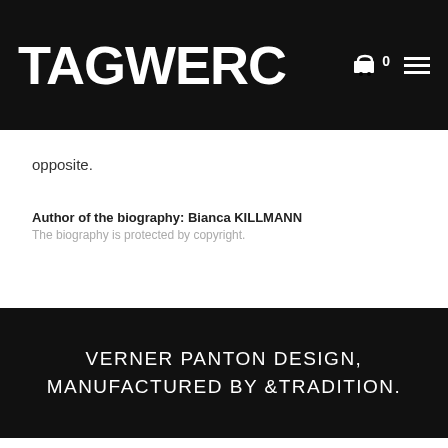TAGWERC
opposite.
Author of the biography: Bianca KILLMANN
The biography is protected by copyright.
VERNER PANTON DESIGN, MANUFACTURED BY &TRADITION.